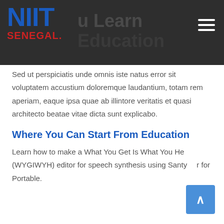[Figure (logo): NIIT Senegal logo with blue NIIT text and red SENEGAL text, on dark grey header background with tagline 'You Learn Education']
Sed ut perspiciatis unde omnis iste natus error sit voluptatem accustium doloremque laudantium, totam rem aperiam, eaque ipsa quae ab illintore veritatis et quasi architecto beatae vitae dicta sunt explicabo.
Where You Can Start From Education
Learn how to make a What You Get Is What You Hear (WYGIWYH) editor for speech synthesis using Santy... for Portable.